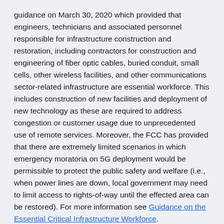guidance on March 30, 2020 which provided that engineers, technicians and associated personnel responsible for infrastructure construction and restoration, including contractors for construction and engineering of fiber optic cables, buried conduit, small cells, other wireless facilities, and other communications sector-related infrastructure are essential workforce. This includes construction of new facilities and deployment of new technology as these are required to address congestion or customer usage due to unprecedented use of remote services. Moreover, the FCC has provided that there are extremely limited scenarios in which emergency moratoria on 5G deployment would be permissible to protect the public safety and welfare (i.e., when power lines are down, local government may need to limit access to rights-of-way until the effected area can be restored). For more information see Guidance on the Essential Critical Infrastructure Workforce.
Are cellular and other radio towers located near homes or schools safe for residents and students?